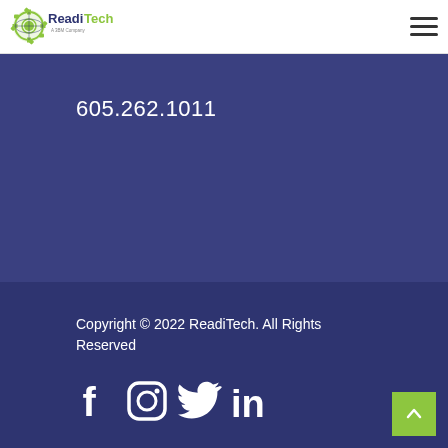[Figure (logo): ReadiTech logo with green gear icon and text 'ReadiTech A 3BM Company']
[Figure (other): Hamburger menu icon (three horizontal lines)]
605.262.1011
Copyright © 2022 ReadiTech. All Rights Reserved
[Figure (other): Social media icons: Facebook, Instagram, Twitter, LinkedIn]
[Figure (other): Back to top button with upward chevron arrow, green background]